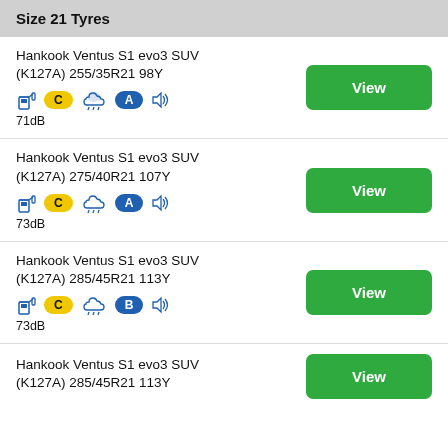Size 21 Tyres
Hankook Ventus S1 evo3 SUV (K127A) 255/35R21 98Y — C / A / 71dB — View
Hankook Ventus S1 evo3 SUV (K127A) 275/40R21 107Y — C / A / 73dB — View
Hankook Ventus S1 evo3 SUV (K127A) 285/45R21 113Y — C / B / 73dB — View
Hankook Ventus S1 evo3 SUV (K127A) 285/45R21 113Y — View